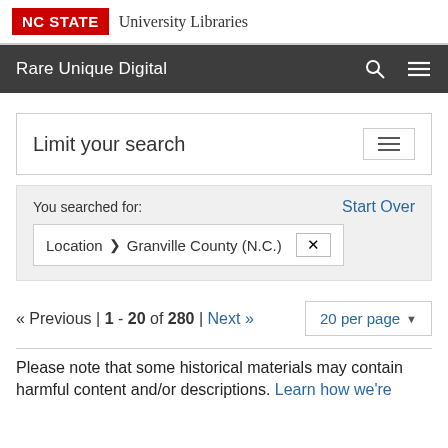NC STATE University Libraries
Rare Unique Digital
Limit your search
You searched for:
Start Over
Location ❯ Granville County (N.C.) ✕
« Previous | 1 - 20 of 280 | Next »
20 per page
Please note that some historical materials may contain harmful content and/or descriptions. Learn how we're